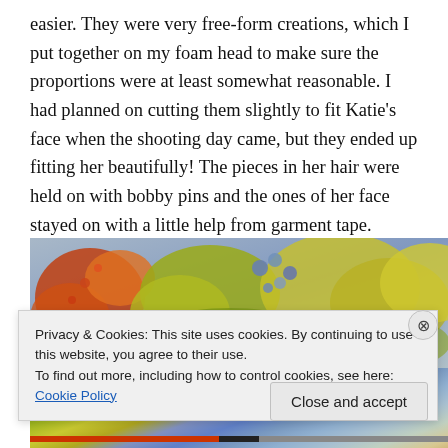easier.  They were very free-form creations, which I put together on my foam head to make sure the proportions were at least somewhat reasonable.  I had planned on cutting them slightly to fit Katie's face when the shooting day came, but they ended up fitting her beautifully!  The pieces in her hair were held on with bobby pins and the ones of her face stayed on with a little help from garment tape.
[Figure (photo): Photo of colorful foliage with orange, yellow, and blue-gray berries or flowers against a leafy background.]
Privacy & Cookies: This site uses cookies. By continuing to use this website, you agree to their use.
To find out more, including how to control cookies, see here: Cookie Policy
Close and accept